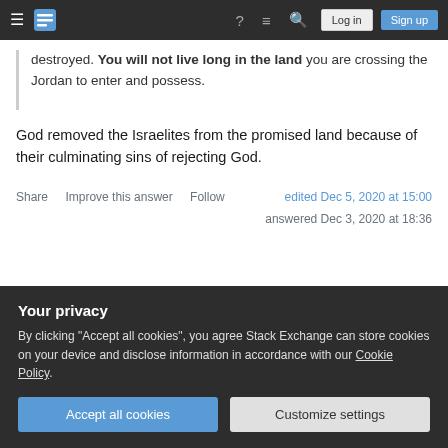Stack Exchange navigation bar with hamburger menu, logo, help, chat, search icons, Log in and Sign up buttons
destroyed. You will not live long in the land you are crossing the Jordan to enter and possess.
God removed the Israelites from the promised land because of their culminating sins of rejecting God.
Share   Improve this answer   Follow   edited Dec 5, 2020 at 15:00
answered Dec 3, 2020 at 18:36
Your privacy
By clicking "Accept all cookies", you agree Stack Exchange can store cookies on your device and disclose information in accordance with our Cookie Policy.
Accept all cookies   Customize settings